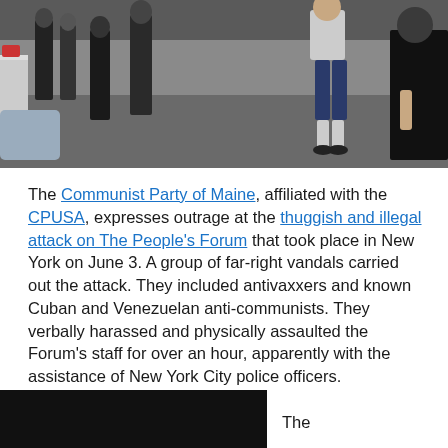[Figure (photo): Indoor scene showing multiple people standing in what appears to be a lobby or office space. People are visible in the background and foreground, some in shorts and dark clothing.]
The Communist Party of Maine, affiliated with the CPUSA, expresses outrage at the thuggish and illegal attack on The People's Forum that took place in New York on June 3. A group of far-right vandals carried out the attack. They included antivaxxers and known Cuban and Venezuelan anti-communists. They verbally harassed and physically assaulted the Forum's staff for over an hour, apparently with the assistance of New York City police officers.
[Figure (photo): Partial image at bottom left, appears dark/black.]
The